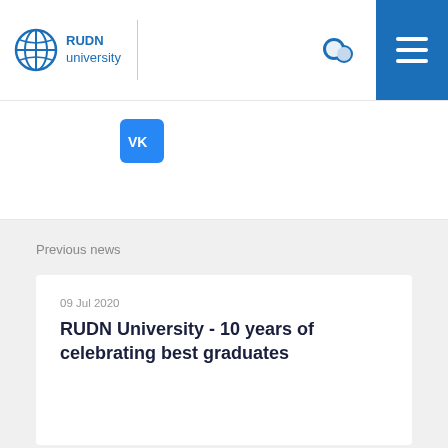RUDN university
[Figure (logo): VK social network share button icon]
Previous news
09 Jul 2020
RUDN University - 10 years of celebrating best graduates
Next news